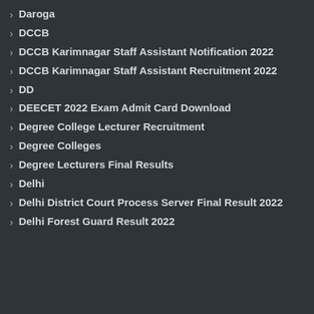Daroga
DCCB
DCCB Karimnagar Staff Assistant Notification 2022
DCCB Karimnagar Staff Assistant Recruitment 2022
DD
DEECET 2022 Exam Admit Card Download
Degree College Lecturer Recruitment
Degree Colleges
Degree Lecturers Final Results
Delhi
Delhi District Court Process Server Final Result 2022
Delhi Forest Guard Result 2022